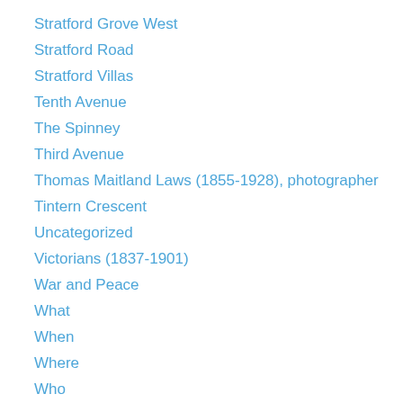Stratford Grove West
Stratford Road
Stratford Villas
Tenth Avenue
The Spinney
Third Avenue
Thomas Maitland Laws (1855-1928), photographer
Tintern Crescent
Uncategorized
Victorians (1837-1901)
War and Peace
What
When
Where
Who
William 'Billy' Hogg (1879-1937), footballer
William Brogg Leighton (1810-1884), preacher
William Douglass Horsley (1898-1989), engineer
Wills Building
Women